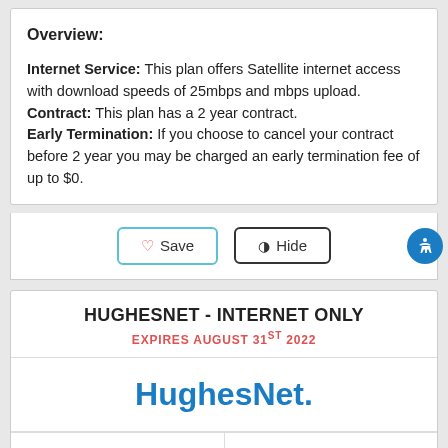Overview:
Internet Service: This plan offers Satellite internet access with download speeds of 25mbps and mbps upload.
Contract: This plan has a 2 year contract.
Early Termination: If you choose to cancel your contract before 2 year you may be charged an early termination fee of up to $0.
Save | Hide
HUGHESNET - INTERNET ONLY
EXPIRES AUGUST 31ST 2022
[Figure (logo): HughesNet logo in blue and teal bold text]
1 star out of 5
$74.99